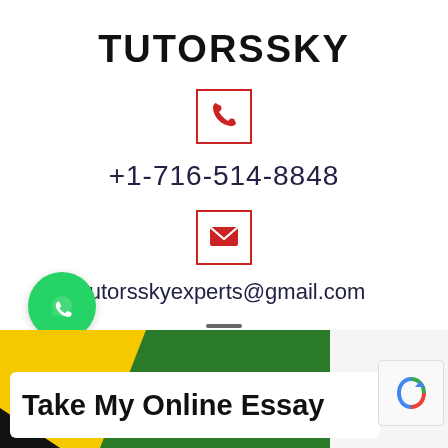TUTORSSKY
[Figure (logo): Red-bordered box with a red phone receiver icon]
+1-716-514-8848
[Figure (logo): Red-bordered box with a red envelope/email icon]
tutorsskyexperts@gmail.com
[Figure (logo): Hamburger menu icon (three horizontal lines)]
[Figure (logo): Green circle with white WhatsApp phone icon]
Take My Online Essay